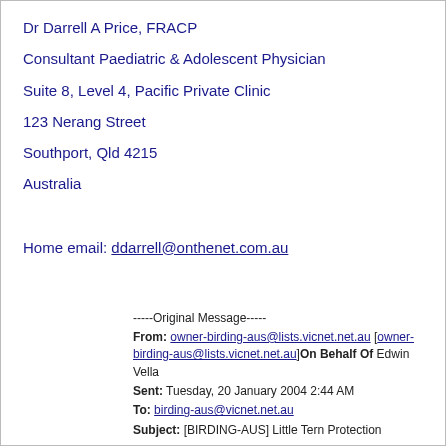Dr Darrell A Price, FRACP
Consultant Paediatric & Adolescent Physician
Suite 8, Level 4, Pacific Private Clinic
123 Nerang Street
Southport, Qld 4215
Australia
Home email: ddarrell@onthenet.com.au
-----Original Message-----
From: owner-birding-aus@lists.vicnet.net.au [owner-birding-aus@lists.vicnet.net.au]On Behalf Of Edwin Vella
Sent: Tuesday, 20 January 2004 2:44 AM
To: birding-aus@vicnet.net.au
Subject: [BIRDING-AUS] Little Tern Protection